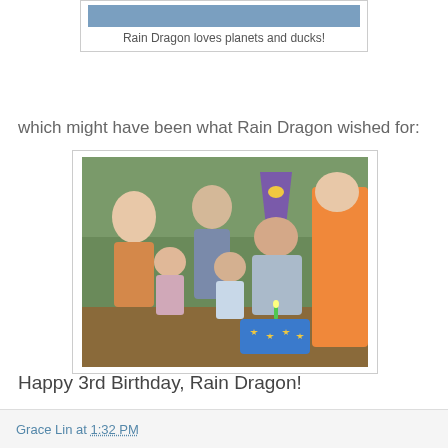[Figure (photo): Birthday party photo showing a child blowing out candles on a blue cake decorated with yellow stars, wearing a purple birthday hat, surrounded by family members]
Rain Dragon loves planets and ducks!
which might have been what Rain Dragon wished for:
[Figure (photo): Group photo of birthday party with child blowing out birthday cake candles, wearing a purple hat that says 'is 3', surrounded by adults and children outdoors]
Happy 3rd Birthday, Rain Dragon!
Grace Lin at 1:32 PM